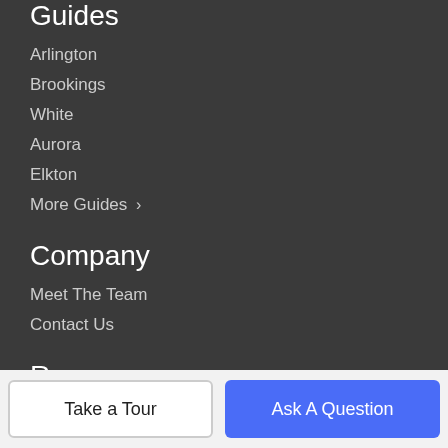Guides
Arlington
Brookings
White
Aurora
Elkton
More Guides >
Company
Meet The Team
Contact Us
Resources
Buy A Home
Take a Tour
Ask A Question